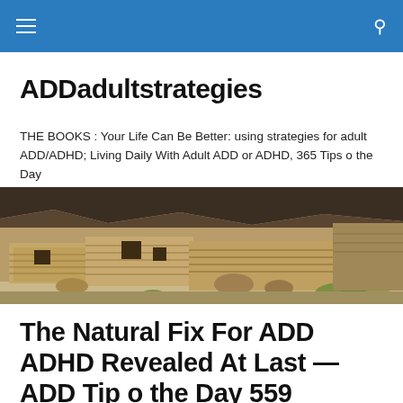Navigation bar with menu and search icons
ADDadultstrategies
THE BOOKS : Your Life Can Be Better: using strategies for adult ADD/ADHD; Living Daily With Adult ADD or ADHD, 365 Tips o the Day
[Figure (photo): Panoramic photo of ancient cliff dwellings / pueblo ruins carved into a rocky overhang, with sandy stone walls and green vegetation at the base]
The Natural Fix For ADD ADHD Revealed At Last —ADD Tip o the Day 559